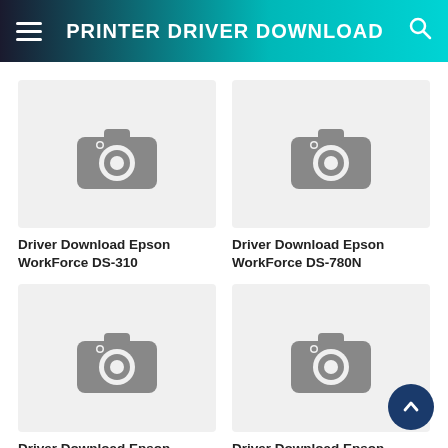PRINTER DRIVER DOWNLOAD
[Figure (screenshot): Placeholder camera icon for Driver Download Epson WorkForce DS-310]
Driver Download Epson WorkForce DS-310
[Figure (screenshot): Placeholder camera icon for Driver Download Epson WorkForce DS-780N]
Driver Download Epson WorkForce DS-780N
[Figure (screenshot): Placeholder camera icon for Driver Download Epson Perfection V300 Photo]
Driver Download Epson Perfection V300 Photo
[Figure (screenshot): Placeholder camera icon for Driver Download Epson Expression 12000XL Pro]
Driver Download Epson Expression 12000XL Pro